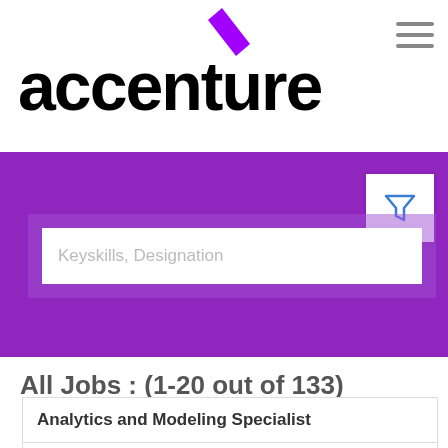[Figure (logo): Accenture logo with purple chevron/arrow above the word 'accenture' in bold black text]
[Figure (screenshot): Purple banner background with a search input field labeled 'Keyskills, Designation' and a white filter icon box with a blue funnel icon]
All Jobs : (1-20 out of 133)
Analytics and Modeling Specialist
6-11 Yrs